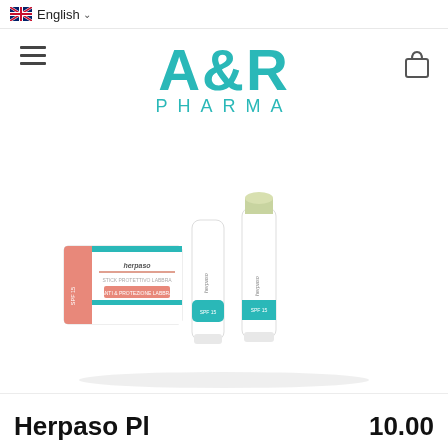English
[Figure (logo): A&R PHARMA logo in teal/turquoise lettering]
[Figure (photo): Herpaso lip protection stick product — packaging box (white and salmon/pink), two lip balm sticks (white with teal band, SPF 15 labeling), one uncapped showing greenish-white balm tip]
Herpaso Pl...                    10.00